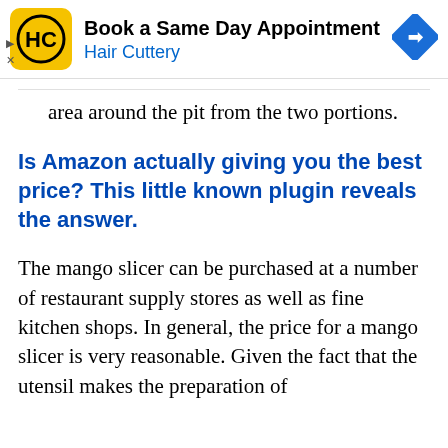[Figure (screenshot): Hair Cuttery advertisement banner: yellow rounded square logo with HC initials, text 'Book a Same Day Appointment' and 'Hair Cuttery' in blue, blue diamond navigation arrow on right]
area around the pit from the two portions.
Is Amazon actually giving you the best price? This little known plugin reveals the answer.
The mango slicer can be purchased at a number of restaurant supply stores as well as fine kitchen shops. In general, the price for a mango slicer is very reasonable. Given the fact that the utensil makes the preparation of